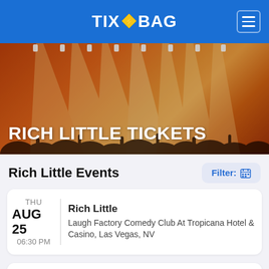TIX◆BAG
[Figure (photo): Concert crowd with stage lighting, warm orange/red tones]
RICH LITTLE TICKETS
Rich Little Events
Filter: 📅
THU AUG 25 06:30 PM — Rich Little — Laugh Factory Comedy Club At Tropicana Hotel & Casino, Las Vegas, NV
SAT AUG 27 06:30 PM — Rich Little — Laugh Factory Comedy Club At Tropicana Hotel & Casino, Las Vegas, NV